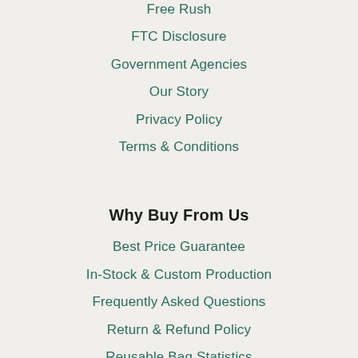Free Rush
FTC Disclosure
Government Agencies
Our Story
Privacy Policy
Terms & Conditions
Why Buy From Us
Best Price Guarantee
In-Stock & Custom Production
Frequently Asked Questions
Return & Refund Policy
Reusable Bag Statistics
Shipping Policy